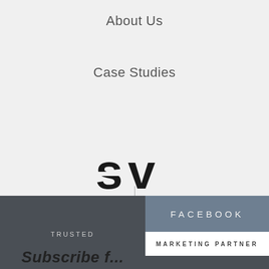About Us
Case Studies
[Figure (logo): SV company logo in bold black stylized lettering]
[Figure (illustration): Social media icons: Facebook (f), Instagram (camera icon), LinkedIn (in)]
TRUSTED
Subscribe f...
[Figure (logo): Facebook Marketing Partner badge — dark blue-grey top with FACEBOOK text, white bottom with MARKETING PARTNER text]